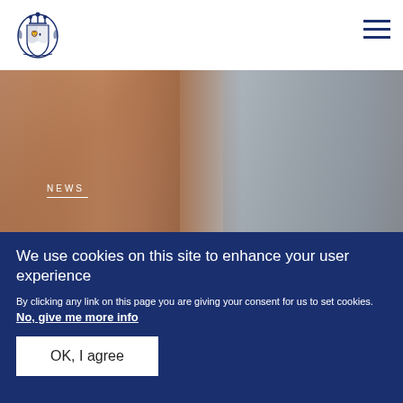Royal.uk header with logo and hamburger menu
[Figure (photo): Close-up photo of a red-haired man (Duke of Sussex) with a woman (Duchess of Sussex) in the background, overlaid with NEWS label and title text 'The Duke and Duchess']
NEWS
The Duke and Duchess
We use cookies on this site to enhance your user experience
By clicking any link on this page you are giving your consent for us to set cookies. No, give me more info
OK, I agree